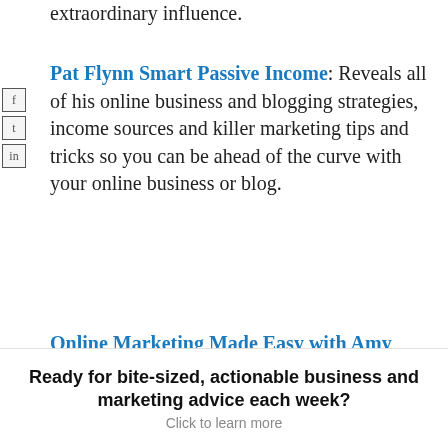extraordinary influence.
Pat Flynn Smart Passive Income: Reveals all of his online business and blogging strategies, income sources and killer marketing tips and tricks so you can be ahead of the curve with your online business or blog.
Online Marketing Made Easy with Amy Porterfield: “Facebook Marketing All in One for Dummies” co-author and online entrepreneur Amy Porterfield shows you exactly how to monetize your online marketing and blogging efforts using her own
Ready for bite-sized, actionable business and marketing advice each week?
Click to learn more